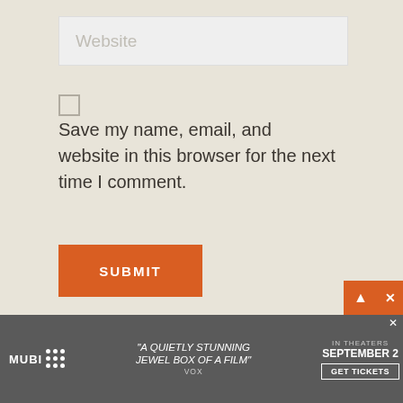Website
Save my name, email, and website in this browser for the next time I comment.
SUBMIT
Related Posts
[Figure (screenshot): Advertisement banner for MUBI film streaming: 'A QUIETLY STUNNING JEWEL BOX OF A FILM' - VOX. In theaters September 2. Get Tickets button. Close and scroll-up controls.]